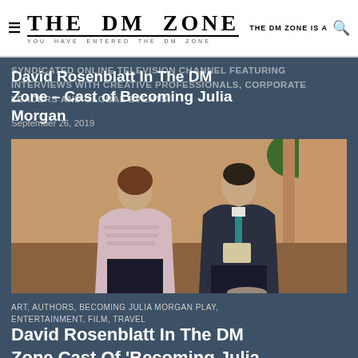THE DM ZONE — YOU HAVE ENTERED THE DM ZONE — THE DM ZONE IS A [search]
David Rosenblatt In The DM Zone – Cast of Becoming Julia Morgan
SYNDICATED ONLINE TELEVISION CHANNEL FEATURING INTERVIEWS WITH CREATIVE PROFESSIONALS, CORPORATE LEADERS AND GLOBAL EVENTS.
September 26, 2019
[Figure (photo): Two people seated and conversing in a warmly lit interior setting with greenery in the background. One person wears a patterned shawl, the other a dark jacket with a teal tie.]
ART, AUTHORS, BECOMING JULIA MORGAN PLAY, ENTERTAINMENT, FILM, TRAVEL
David Rosenblatt In The DM Zone Cast Of 'Becoming Julia Morgan'